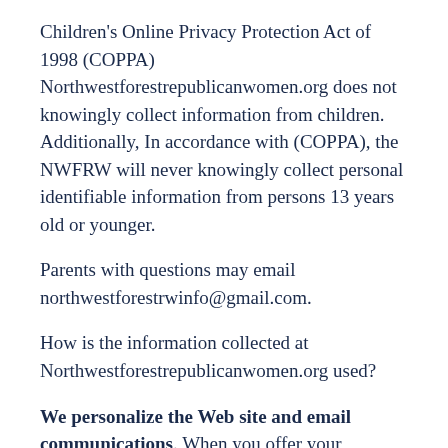Children's Online Privacy Protection Act of 1998 (COPPA) Northwestforestrepublicanwomen.org does not knowingly collect information from children. Additionally, In accordance with (COPPA), the NWFRW will never knowingly collect personal identifiable information from persons 13 years old or younger.
Parents with questions may email northwestforestrwinfo@gmail.com.
How is the information collected at Northwestforestrepublicanwomen.org used?
We personalize the Web site and email communications. When you offer your personal information and/or choose to participate in our